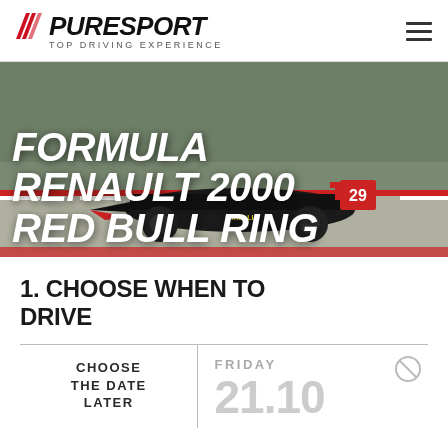PURESPORT — TOP DRIVING EXPERIENCE
[Figure (photo): Formula Renault 2000 race car on track at Red Bull Ring, black car with red accents and number 29, blurred background]
FORMULA RENAULT 2000 RED BULL RING
1. CHOOSE WHEN TO DRIVE
CHOOSE THE DATE LATER
FRIDAY 21.10